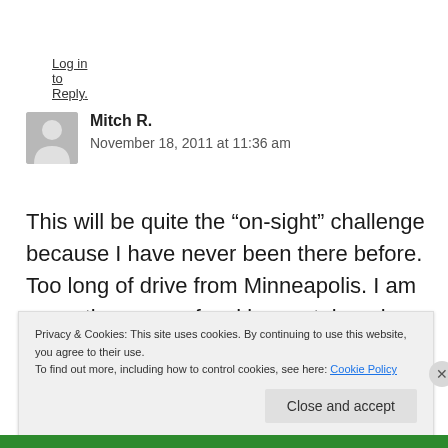Log in to Reply.
Mitch R.
November 18, 2011 at 11:36 am
This will be quite the “on-sight” challenge because I have never been there before. Too long of drive from Minneapolis. I am expecting more of a ski mountaineering gig at that time of
Privacy & Cookies: This site uses cookies. By continuing to use this website, you agree to their use.
To find out more, including how to control cookies, see here: Cookie Policy
Close and accept